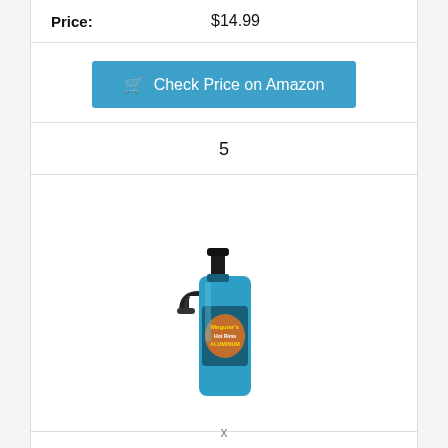Price: $14.99
[Figure (other): Check Price on Amazon button (teal/blue background with shopping cart icon)]
5
[Figure (photo): Meguiar's G14324 Hot Rims Aluminum Wheel Cleaner spray bottle - blue trigger spray bottle with orange/fire label design]
Meguiar's G14324 Hot Rims Aluminum Wheel Cleaner,